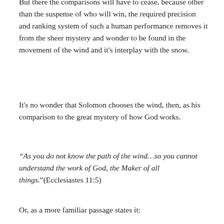But there the comparisons will have to cease, because other than the suspense of who will win, the required precision and ranking system of such a human performance removes it from the sheer mystery and wonder to be found in the movement of the wind and it's interplay with the snow.
It's no wonder that Solomon chooses the wind, then, as his comparison to the great mystery of how God works.
“As you do not know the path of the wind…so you cannot understand the work of God, the Maker of all things.”(Ecclesiastes 11:5)
Or, as a more familiar passage states it: